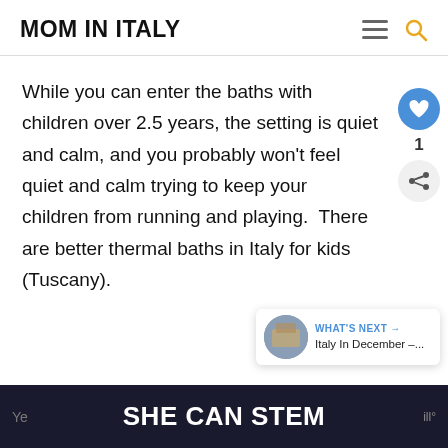MOM IN ITALY
While you can enter the baths with children over 2.5 years, the setting is quiet and calm, and you probably won't feel quiet and calm trying to keep your children from running and playing.  There are better thermal baths in Italy for kids (Tuscany).
Skip the Grotte di Catullo with Small Children
SHE CAN STEM